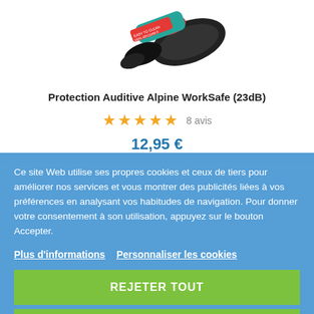[Figure (photo): Product photo of Alpine WorkSafe ear protection plugs, black with red accent, on white background]
Protection Auditive Alpine WorkSafe (23dB)
★★★★★ 8 avis
12,95 €
Ce site Web utilise ses propres cookies et ceux de tiers pour améliorer nos services et vous montrer des publicités liées à vos préférences en analysant vos habitudes de navigation. Pour donner votre consentement à son utilisation, appuyez sur le bouton Accepter.
Plus d'informations  Personnaliser les cookies
REJETER TOUT
J'ACCEPTE